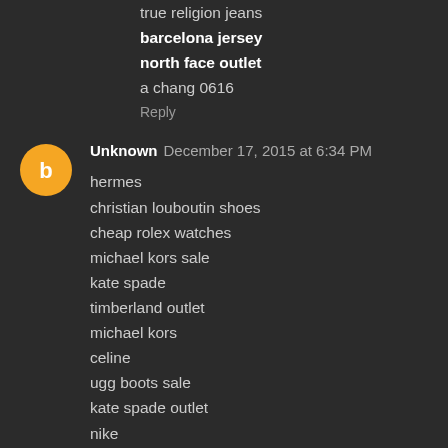true religion jeans
barcelona jersey
north face outlet
a chang 0616
Reply
Unknown December 17, 2015 at 6:34 PM
hermes
christian louboutin shoes
cheap rolex watches
michael kors sale
kate spade
timberland outlet
michael kors
celine
ugg boots sale
kate spade outlet
nike
burberry scarf
north face
gucci